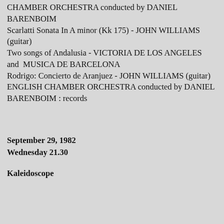CHAMBER ORCHESTRA conducted by DANIEL BARENBOIM
Scarlatti Sonata In A minor (Kk 175) - JOHN WILLIAMS (guitar)
Two songs of Andalusia - VICTORIA DE LOS ANGELES and MUSICA DE BARCELONA
Rodrigo: Concierto de Aranjuez - JOHN WILLIAMS (guitar) ENGLISH CHAMBER ORCHESTRA conducted by DANIEL BARENBOIM : records
September 29, 1982
Wednesday 21.30
Kaleidoscope